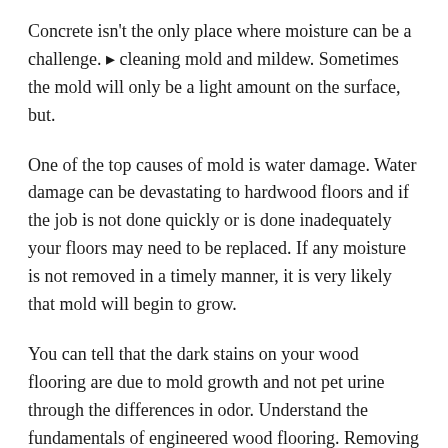Concrete isn't the only place where moisture can be a challenge. ▸ cleaning mold and mildew. Sometimes the mold will only be a light amount on the surface, but.
One of the top causes of mold is water damage. Water damage can be devastating to hardwood floors and if the job is not done quickly or is done inadequately your floors may need to be replaced. If any moisture is not removed in a timely manner, it is very likely that mold will begin to grow.
You can tell that the dark stains on your wood flooring are due to mold growth and not pet urine through the differences in odor. Understand the fundamentals of engineered wood flooring. Removing black mold stains on hardwood floors.